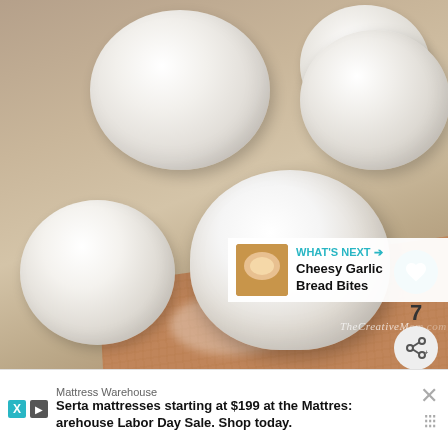[Figure (photo): Photo of round white dough balls on a silicone baking mat, taken from a close-up angle. The dough balls are smooth and pale white. A red-edged silicone baking mat is visible beneath them. Watermark reads TheCreativeMom.com.]
WHAT'S NEXT → Cheesy Garlic Bread Bites
Mattress Warehouse
Serta mattresses starting at $199 at the Mattres: arehouse Labor Day Sale. Shop today.